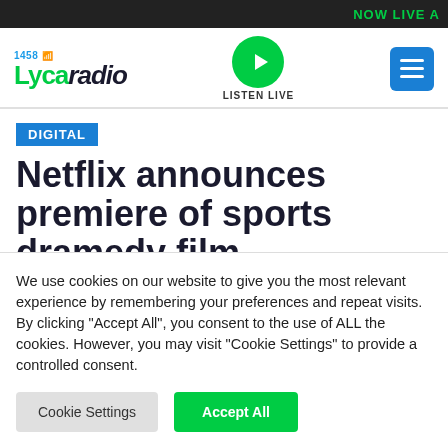NOW LIVE A
[Figure (logo): Lycaradio 1458 logo with green play button and LISTEN LIVE text and blue hamburger menu icon]
DIGITAL
Netflix announces premiere of sports dramedy film
We use cookies on our website to give you the most relevant experience by remembering your preferences and repeat visits. By clicking "Accept All", you consent to the use of ALL the cookies. However, you may visit "Cookie Settings" to provide a controlled consent.
Cookie Settings   Accept All